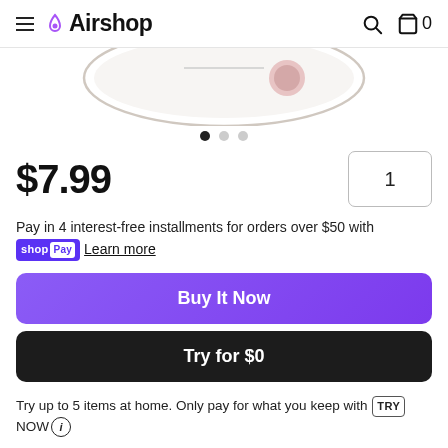Airshop
[Figure (photo): Partial top view of a smartwatch with pink/rose gold crown on a white background]
$7.99
Pay in 4 interest-free installments for orders over $50 with Shop Pay  Learn more
Buy It Now
Try for $0
Try up to 5 items at home. Only pay for what you keep with TRY NOW (i)